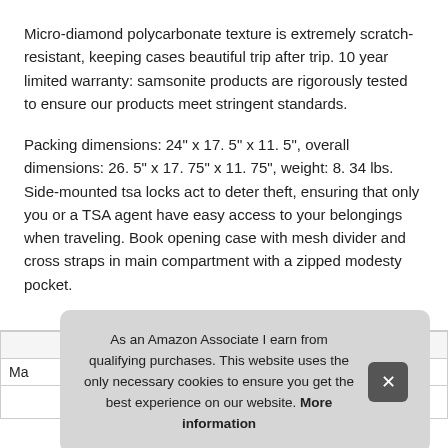Micro-diamond polycarbonate texture is extremely scratch-resistant, keeping cases beautiful trip after trip. 10 year limited warranty: samsonite products are rigorously tested to ensure our products meet stringent standards.
Packing dimensions: 24" x 17. 5" x 11. 5", overall dimensions: 26. 5" x 17. 75" x 11. 75", weight: 8. 34 lbs. Side-mounted tsa locks act to deter theft, ensuring that only you or a TSA agent have easy access to your belongings when traveling. Book opening case with mesh divider and cross straps in main compartment with a zipped modesty pocket.
| Ma |  |
As an Amazon Associate I earn from qualifying purchases. This website uses the only necessary cookies to ensure you get the best experience on our website. More information